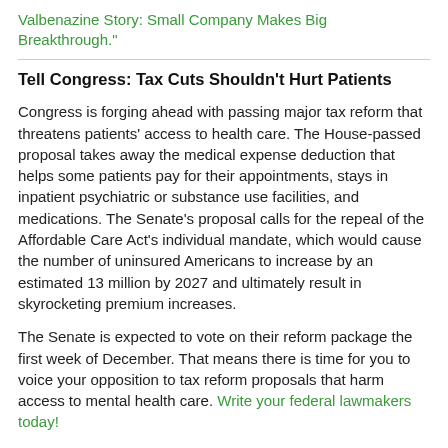Valbenazine Story: Small Company Makes Big Breakthrough."
Tell Congress: Tax Cuts Shouldn't Hurt Patients
Congress is forging ahead with passing major tax reform that threatens patients' access to health care. The House-passed proposal takes away the medical expense deduction that helps some patients pay for their appointments, stays in inpatient psychiatric or substance use facilities, and medications. The Senate's proposal calls for the repeal of the Affordable Care Act's individual mandate, which would cause the number of uninsured Americans to increase by an estimated 13 million by 2027 and ultimately result in skyrocketing premium increases.
The Senate is expected to vote on their reform package the first week of December. That means there is time for you to voice your opposition to tax reform proposals that harm access to mental health care. Write your federal lawmakers today!